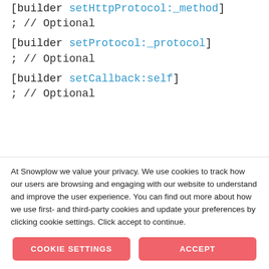[builder setHttpProtocol:_method]
; // Optional
[builder setProtocol:_protocol]
; // Optional
[builder setCallback:self]
; // Optional
At Snowplow we value your privacy. We use cookies to track how our users are browsing and engaging with our website to understand and improve the user experience. You can find out more about how we use first- and third-party cookies and update your preferences by clicking cookie settings. Click accept to continue.